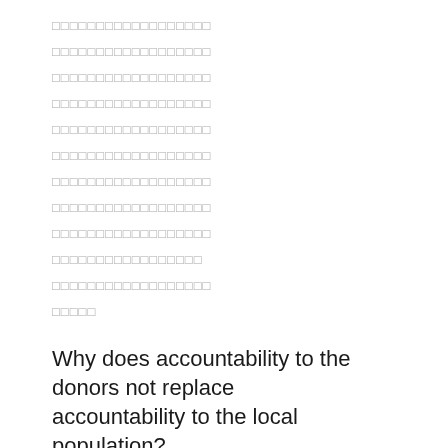[redacted text block - multiple lines of obscured/placeholder characters]
Why does accountability to the donors not replace accountability to the local population?